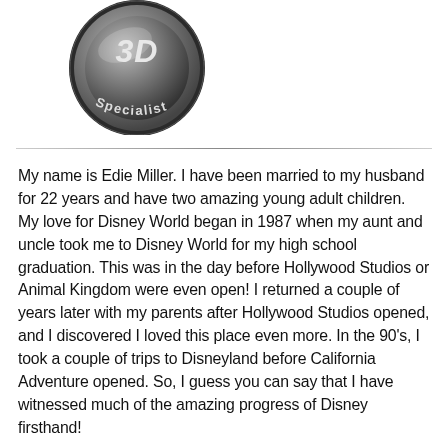[Figure (logo): Circular metallic badge with '3D Specialist' text in silver/grey tones]
My name is Edie Miller. I have been married to my husband for 22 years and have two amazing young adult children. My love for Disney World began in 1987 when my aunt and uncle took me to Disney World for my high school graduation. This was in the day before Hollywood Studios or Animal Kingdom were even open! I returned a couple of years later with my parents after Hollywood Studios opened, and I discovered I loved this place even more. In the 90's, I took a couple of trips to Disneyland before California Adventure opened. So, I guess you can say that I have witnessed much of the amazing progress of Disney firsthand!